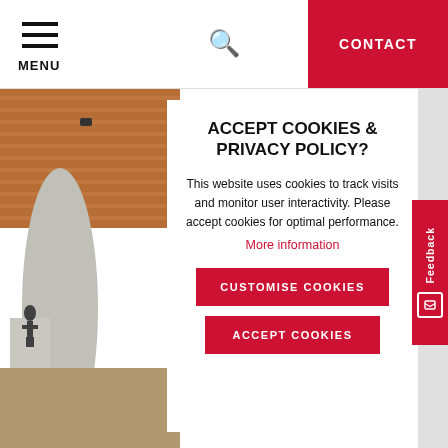MENU | CONTACT
[Figure (photo): Interior photo of a museum or cultural building showing wooden slat ceiling, concrete columns, a sculpture on a pedestal, and warm ambient lighting.]
ACCEPT COOKIES & PRIVACY POLICY?
This website uses cookies to track visits and monitor user interactivity. Please accept cookies for optimal performance.
More information
CUSTOMISE COOKIES
ACCEPT COOKIES